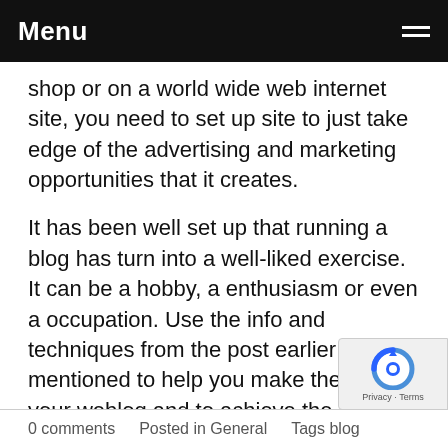Menu
shop or on a world wide web internet site, you need to set up site to just take edge of the advertising and marketing opportunities that it creates.
It has been well set up that running a blog has turn into a well-liked exercise. It can be a hobby, a enthusiasm or even a occupation. Use the info and techniques from the post earlier mentioned to help you make the most of your weblog and to achieve the targets that you have for your blog.
Go Back
0 comments   Posted in General   Tags blog